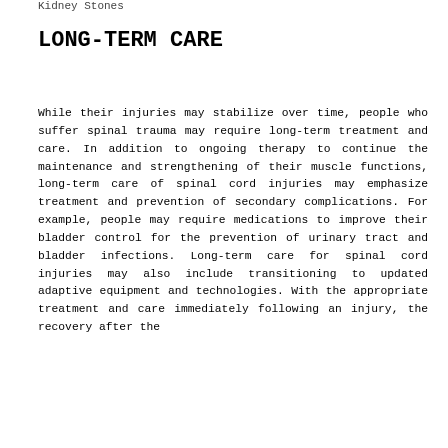Kidney Stones
LONG-TERM CARE
While their injuries may stabilize over time, people who suffer spinal trauma may require long-term treatment and care. In addition to ongoing therapy to continue the maintenance and strengthening of their muscle functions, long-term care of spinal cord injuries may emphasize treatment and prevention of secondary complications. For example, people may require medications to improve their bladder control for the prevention of urinary tract and bladder infections. Long-term care for spinal cord injuries may also include transitioning to updated adaptive equipment and technologies. With the appropriate treatment and care immediately following an injury, the recovery after the